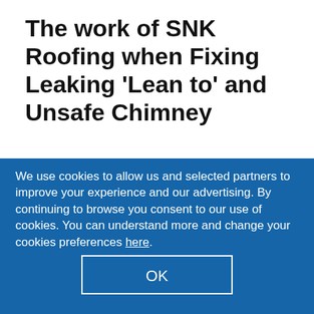The work of SNK Roofing when Fixing Leaking 'Lean to' and Unsafe Chimney
Gary and Charlie were the best tradesmen you could want once the job was started. They worked quietly and efficiently and nothing phazed them, even having to manipulate their house size ladders through my window to
We use cookies to allow us and selected partners to improve your experience and our advertising. By continuing to browse you consent to our use of cookies. You can understand more and change your cookies preferences here.